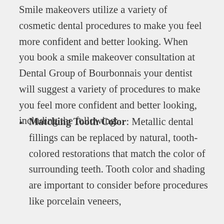Smile makeovers utilize a variety of cosmetic dental procedures to make you feel more confident and better looking. When you book a smile makeover consultation at Dental Group of Bourbonnais your dentist will suggest a variety of procedures to make you feel more confident and better looking, including the following:
Matching Tooth Color: Metallic dental fillings can be replaced by natural, tooth-colored restorations that match the color of surrounding teeth. Tooth color and shading are important to consider before procedures like porcelain veneers,